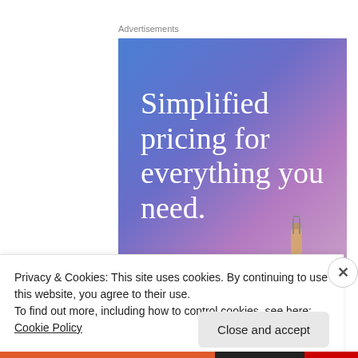Advertisements
[Figure (illustration): Advertisement banner with gradient blue-purple background and white serif text reading 'Simplified pricing for everything you need.' with a hand holding glasses visible at bottom right.]
Privacy & Cookies: This site uses cookies. By continuing to use this website, you agree to their use.
To find out more, including how to control cookies, see here: Cookie Policy
Close and accept